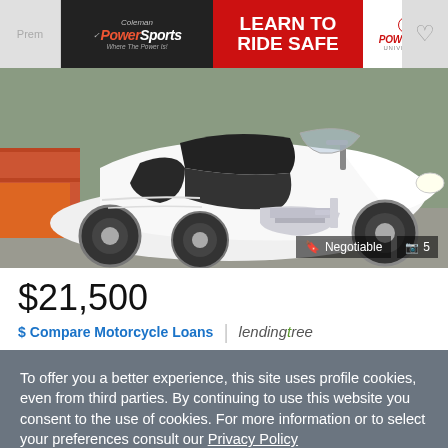[Figure (screenshot): Advertisement banner for Coleman PowerSports featuring 'LEARN TO RIDE SAFE' text in red box, PowerRide University logo, and a heart/favorite icon on the right]
[Figure (photo): White Honda Gold Wing trike/three-wheel motorcycle photographed from the side, showing the rear passenger area and chrome details. Badge shows 'Negotiable' and 5 photos indicator.]
$21,500
$ Compare Motorcycle Loans | lendingtree
To offer you a better experience, this site uses profile cookies, even from third parties. By continuing to use this website you consent to the use of cookies. For more information or to select your preferences consult our Privacy Policy
Cookie Settings
✓ OK